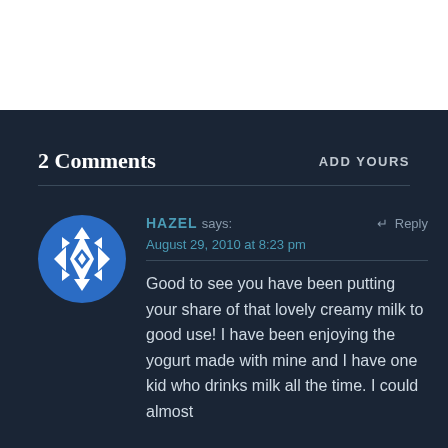2 Comments
ADD YOURS
HAZEL says: August 29, 2010 at 8:23 pm
Good to see you have been putting your share of that lovely creamy milk to good use! I have been enjoying the yogurt made with mine and I have one kid who drinks milk all the time. I could almost